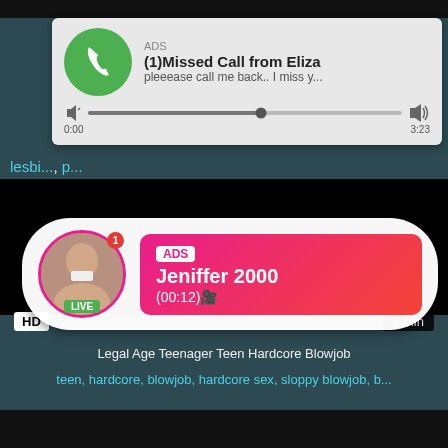[Figure (screenshot): Advertisement popup notification showing a missed call from Eliza with phone icon on green circle background, audio player with progress bar. Time shown 0:00 to 3:23.]
lesbi..., p...
[Figure (screenshot): Live cam advertisement overlay showing a woman with LIVE badge, ADS label, name Jeniffer 2000, time (00:12), on a dark video background. HD badge and 5 min duration visible.]
Legal Age Teenager Teen Hardcore Blowjob
teen, hardcore, blowjob, hardcore sex, sloppy blowjob, b...